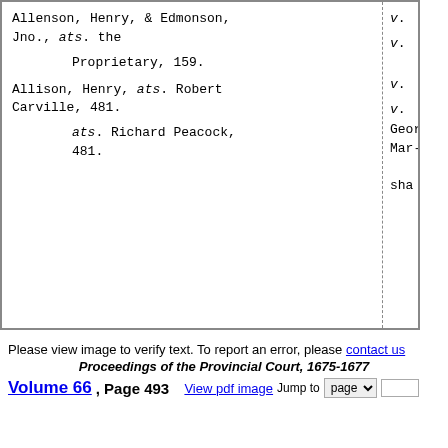Allenson, Henry, & Edmonson, Jno., ats. the Proprietary, 159.
Allison, Henry, ats. Robert Carville, 481.
ats. Richard Peacock, 481.
v. (right column partial, cut off)
George Mar- sha (cut off)
Please view image to verify text. To report an error, please contact us
Proceedings of the Provincial Court, 1675-1677
Volume 66, Page 493   View pdf image   Jump to page